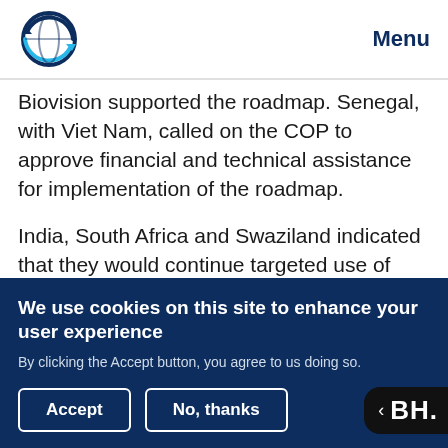Menu
Biovision supported the roadmap. Senegal, with Viet Nam, called on the COP to approve financial and technical assistance for implementation of the roadmap.
India, South Africa and Swaziland indicated that they would continue targeted use of DDT until safe and viable alternatives become available. Dominica suggested that integrated vector
We use cookies on this site to enhance your user experience
By clicking the Accept button, you agree to us doing so.